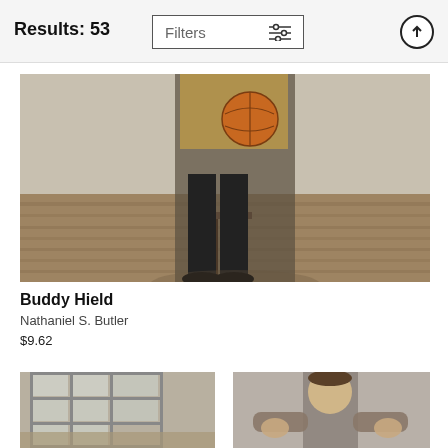Results: 53
Filters
[Figure (photo): Person sitting on a stool holding a basketball, wearing a plaid shirt and black pants, photographed from head cropped to feet in a room with brick walls and wooden floors]
Buddy Hield
Nathaniel S. Butler
$9.62
[Figure (photo): Photo showing a large industrial window frame in a room with concrete walls, partially cropped]
[Figure (photo): Person with arms raised in front of a concrete/brick wall, figure cropped at top of frame]